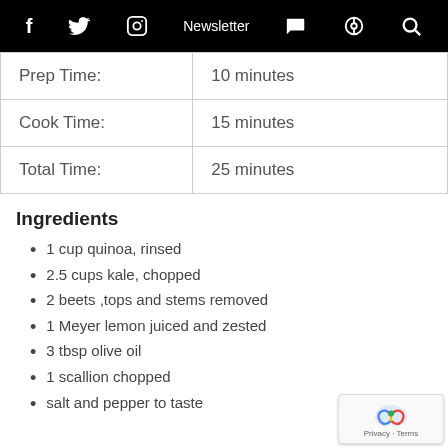f  Twitter  Instagram  Newsletter  Cart  Podcast  Search
| Prep Time: | 10 minutes |
| Cook Time: | 15 minutes |
| Total Time: | 25 minutes |
Ingredients
1 cup quinoa, rinsed
2.5 cups kale, chopped
2 beets ,tops and stems removed
1 Meyer lemon juiced and zested
3 tbsp olive oil
1 scallion chopped
salt and pepper to taste